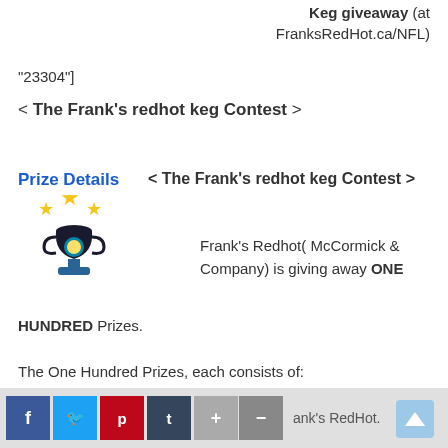Keg giveaway (at FranksRedHot.ca/NFL)
"23304"]
< The Frank's redhot keg Contest >
Prize Details     < The Frank's redhot keg Contest >
[Figure (illustration): Trophy icon with stars]
Frank's Redhot( McCormick & Company) is giving away ONE HUNDRED Prizes.
The One Hundred Prizes, each consists of:
One  five litre keg of Frank's RedHot
ank's RedHot.
The prize value is $132.00 CAD each.